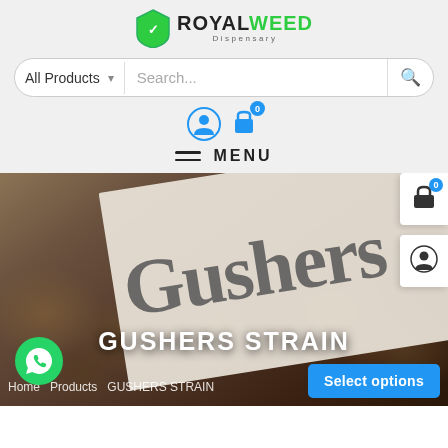[Figure (logo): Royal Weed Dispensary logo with green shield icon and bold text]
[Figure (screenshot): Search bar with All Products dropdown and Search placeholder]
[Figure (screenshot): User account and shopping cart icons with 0 badge, menu hamburger icon with MENU label]
[Figure (photo): Hero image showing cannabis Gushers strain buds with white paper label reading Gushers in large gray text, overlaid with GUSHERS STRAIN title, Select options button, breadcrumb navigation Home > Products > GUSHERS STRAIN, floating cart and user buttons on the right, and WhatsApp contact button bottom left]